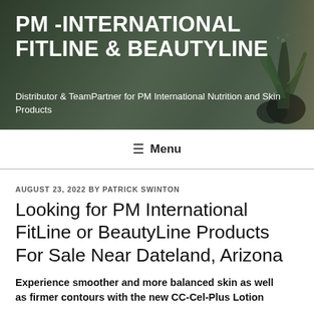[Figure (photo): Header banner image with dark overlay showing a blurred indoor plant scene (dark pot with spiky plant) on a wooden table, dark background. Site title and tagline overlaid in white text.]
PM -INTERNATIONAL FITLINE & BEAUTYLINE
Distributor & TeamPartner for PM International Nutrition and Skin Products
≡ Menu
AUGUST 23, 2022 BY PATRICK SWINTON
Looking for PM International FitLine or BeautyLine Products For Sale Near Dateland, Arizona
Experience smoother and more balanced skin as well
as firmer contours with the new CC-Cel-Plus Lotion